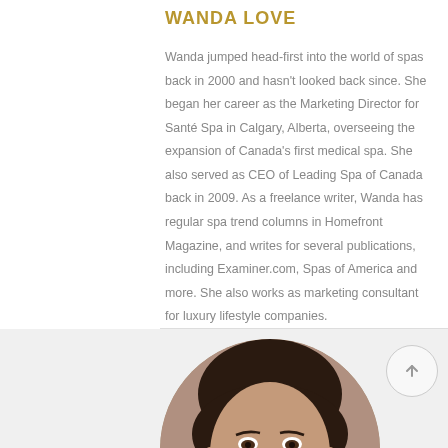[Figure (photo): Partial circular profile photo of Wanda Love at top of page, cropped]
WANDA LOVE
Wanda jumped head-first into the world of spas back in 2000 and hasn't looked back since. She began her career as the Marketing Director for Santé Spa in Calgary, Alberta, overseeing the expansion of Canada's first medical spa. She also served as CEO of Leading Spa of Canada back in 2009. As a freelance writer, Wanda has regular spa trend columns in Homefront Magazine, and writes for several publications, including Examiner.com, Spas of America and more. She also works as marketing consultant for luxury lifestyle companies.
[Figure (photo): Circular portrait photo of a woman with short dark hair, smiling slightly, shown from forehead to chin against a neutral background]